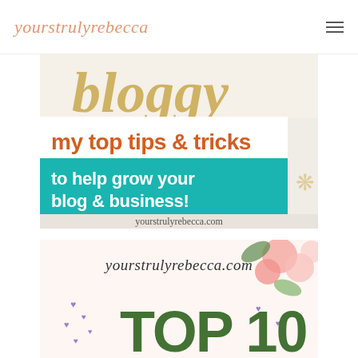yourstrulyrebecca
[Figure (illustration): Blog tips promotional image: gold glitter letters in background, orange bold text 'my top tips & tricks' on white banner, teal background with white bold text 'to help grow your blog & business!', and 'yourstrulyrebecca.com' at bottom]
[Figure (illustration): Second promotional image: 'yourstrulyrebecca.com' in script at top, pink roses and green leaves in corner, purple hearts scattered, large dark green bold text 'TOP 10' partially visible]